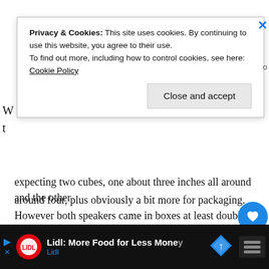[Figure (screenshot): Cookie consent banner overlay with text: 'Privacy & Cookies: This site uses cookies. By continuing to use this website, you agree to their use. To find out more, including how to control cookies, see here: Cookie Policy' and a 'Close and accept' button.]
expecting two cubes, one about three inches all around and the other around four, plus obviously a bit more for packaging. However both speakers came in boxes at least double, maybe even triple, the volume of the thing they contain. The packaging itself is very nice — very similar to the quality of Apple's — but there just seems to be too much of it in an age where other companies are trying to reduce their impact on the environment. Both boxes do have the sizes of the units on the packaging, but I can't help feeling that you might be a bit disappointed when you open them up if you weren't aware of that. The Blazar also comes with a seemingly superfluous faux-leather padded carry case, which might be useful if you could store more than the second com
[Figure (screenshot): Advertisement banner for Lidl: 'Lidl: More Food for Less Money' with Lidl logo and navigation sign icon.]